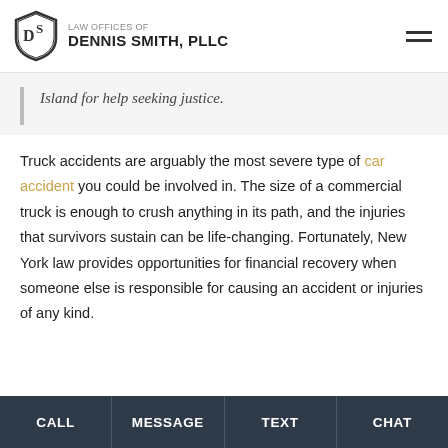LAW OFFICES OF DENNIS SMITH, PLLC
Island for help seeking justice.
Truck accidents are arguably the most severe type of car accident you could be involved in. The size of a commercial truck is enough to crush anything in its path, and the injuries that survivors sustain can be life-changing. Fortunately, New York law provides opportunities for financial recovery when someone else is responsible for causing an accident or injuries of any kind.
CALL | MESSAGE | TEXT | CHAT